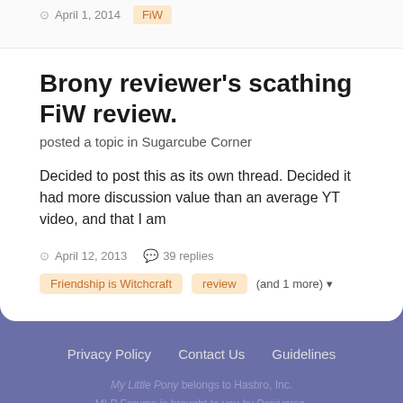April 1, 2014   FiW
Brony reviewer's scathing FiW review.
posted a topic in Sugarcube Corner
Decided to post this as its own thread. Decided it had more discussion value than an average YT video, and that I am
April 12, 2013   39 replies
Friendship is Witchcraft   review   (and 1 more)
Privacy Policy   Contact Us   Guidelines
My Little Pony belongs to Hasbro, Inc.
MLP Forums is brought to you by Poniverse.
All content is © its respective creators.
Powered by Invision Community